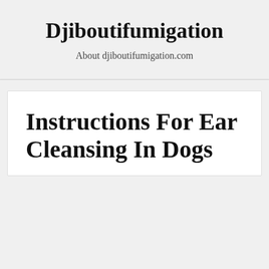Djiboutifumigation
About djiboutifumigation.com
Instructions For Ear Cleansing In Dogs